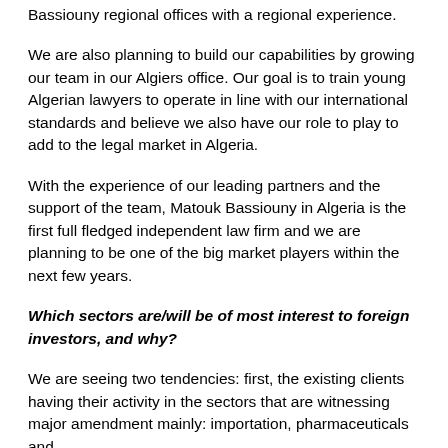Bassiouny regional offices with a regional experience.
We are also planning to build our capabilities by growing our team in our Algiers office. Our goal is to train young Algerian lawyers to operate in line with our international standards and believe we also have our role to play to add to the legal market in Algeria.
With the experience of our leading partners and the support of the team, Matouk Bassiouny in Algeria is the first full fledged independent law firm and we are planning to be one of the big market players within the next few years.
Which sectors are/will be of most interest to foreign investors, and why?
We are seeing two tendencies: first, the existing clients having their activity in the sectors that are witnessing major amendment mainly: importation, pharmaceuticals and